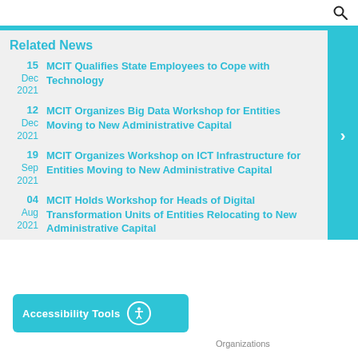Related News
15 Dec 2021 — MCIT Qualifies State Employees to Cope with Technology
12 Dec 2021 — MCIT Organizes Big Data Workshop for Entities Moving to New Administrative Capital
19 Sep 2021 — MCIT Organizes Workshop on ICT Infrastructure for Entities Moving to New Administrative Capital
04 Aug 2021 — MCIT Holds Workshop for Heads of Digital Transformation Units of Entities Relocating to New Administrative Capital
Accessibility Tools
Organizations